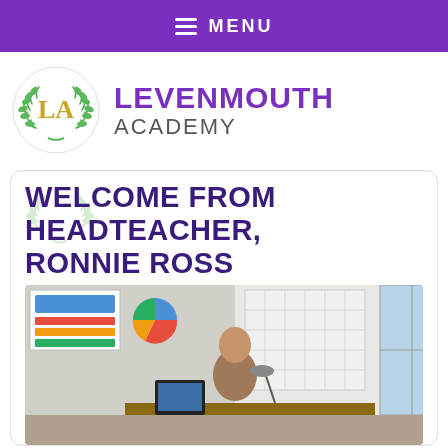MENU
[Figure (logo): Levenmouth Academy logo: circular green laurel wreath with gold LA letters in the centre]
LEVENMOUTH ACADEMY
WELCOME FROM HEADTEACHER, RONNIE ROSS
[Figure (photo): Headteacher Ronnie Ross standing in his office surrounded by charts, whiteboards, and data displays on the walls]